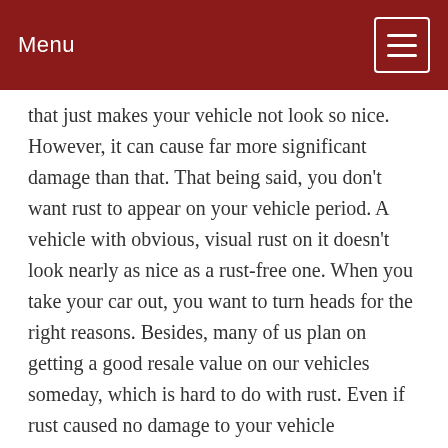Menu
that just makes your vehicle not look so nice. However, it can cause far more significant damage than that. That being said, you don't want rust to appear on your vehicle period. A vehicle with obvious, visual rust on it doesn't look nearly as nice as a rust-free one. When you take your car out, you want to turn heads for the right reasons. Besides, many of us plan on getting a good resale value on our vehicles someday, which is hard to do with rust. Even if rust caused no damage to your vehicle whatsoever, you'd still want to rustproof it.
Of course, rust can cause significant. The most obvious damage rust can cause is often to the body. That exterior comes into contact with the air, which of course can eventually result in rust. This can happen even faster if something eats away at your